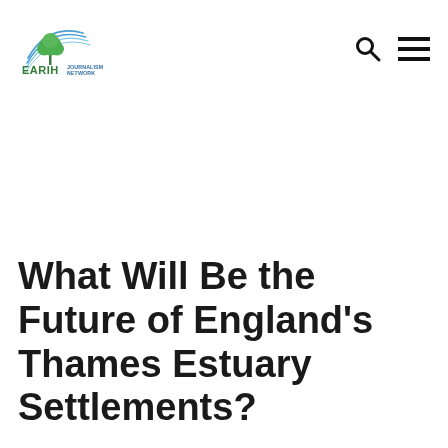[Figure (logo): Earth Journalism Network logo with green tree and arc lines, text EARIH JOURNALISM NETWORK in green and blue]
What Will Be the Future of England's Thames Estuary Settlements?